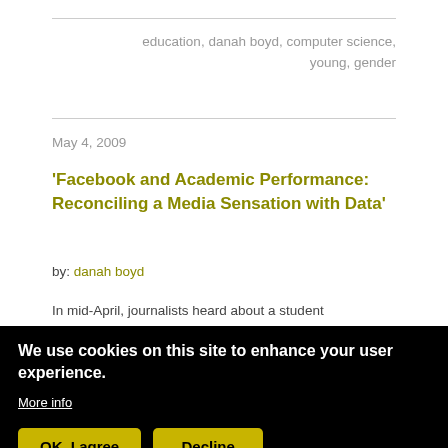education, danah boyd, computer science, young, gender
May 4, 2009
'Facebook and Academic Performance: Reconciling a Media Sensation with Data'
by: danah boyd
In mid-April, journalists heard about a student poster at the American Educational Research
We use cookies on this site to enhance your user experience.
More info
OK, I agree
Decline